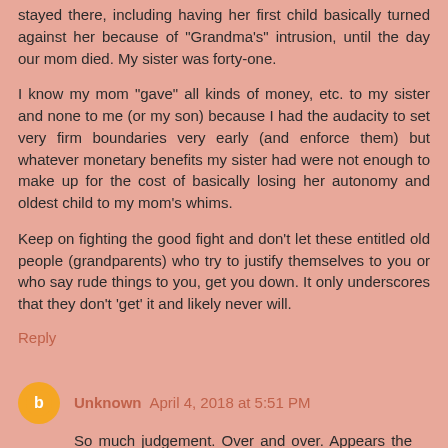stayed there, including having her first child basically turned against her because of "Grandma's" intrusion, until the day our mom died. My sister was forty-one.
I know my mom "gave" all kinds of money, etc. to my sister and none to me (or my son) because I had the audacity to set very firm boundaries very early (and enforce them) but whatever monetary benefits my sister had were not enough to make up for the cost of basically losing her autonomy and oldest child to my mom's whims.
Keep on fighting the good fight and don't let these entitled old people (grandparents) who try to justify themselves to you or who say rude things to you, get you down. It only underscores that they don't 'get' it and likely never will.
Reply
Unknown April 4, 2018 at 5:51 PM
So much judgement. Over and over. Appears the problems come from stubborness on both sides. I am an estranged Mom. Have done everything the person asked and